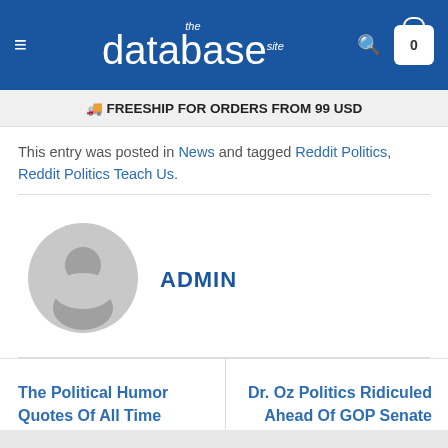the database site
🚚 FREESHIP FOR ORDERS FROM 99 USD
This entry was posted in News and tagged Reddit Politics, Reddit Politics Teach Us.
[Figure (illustration): Gray default user avatar circle with silhouette]
ADMIN
The Political Humor Quotes Of All Time
Dr. Oz Politics Ridiculed Ahead Of GOP Senate Preliminary In Pennsylvania